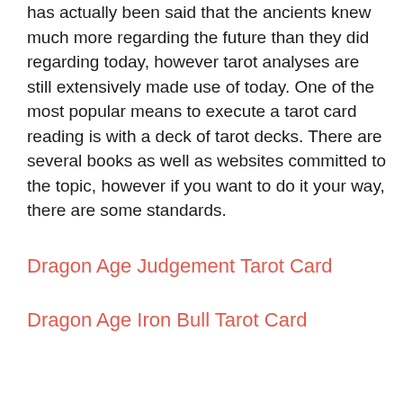has actually been said that the ancients knew much more regarding the future than they did regarding today, however tarot analyses are still extensively made use of today. One of the most popular means to execute a tarot card reading is with a deck of tarot decks. There are several books as well as websites committed to the topic, however if you want to do it your way, there are some standards.
Dragon Age Judgement Tarot Card
Dragon Age Iron Bull Tarot Card